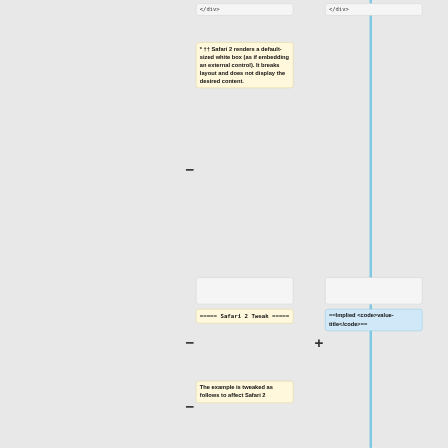</div>
</div>
* †† Safari 2 renders a default-sized white box (as if embedding an external control). It breaks layout and does not display the desired content.
===== Safari 2 Tweak =====
==Implied <code>value-title</code>==
The example is tweaked as follows to affect Safari 2